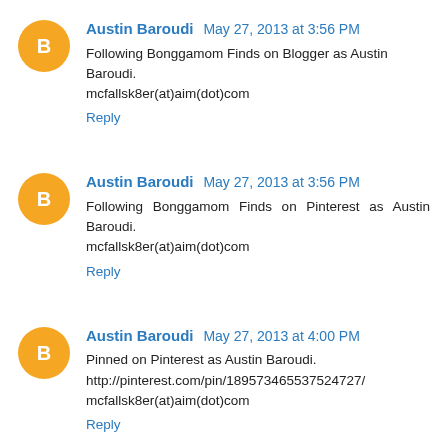Austin Baroudi  May 27, 2013 at 3:56 PM
Following Bonggamom Finds on Blogger as Austin Baroudi. mcfallsk8er(at)aim(dot)com
Reply
Austin Baroudi  May 27, 2013 at 3:56 PM
Following Bonggamom Finds on Pinterest as Austin Baroudi. mcfallsk8er(at)aim(dot)com
Reply
Austin Baroudi  May 27, 2013 at 4:00 PM
Pinned on Pinterest as Austin Baroudi. http://pinterest.com/pin/189573465537524727/ mcfallsk8er(at)aim(dot)com
Reply